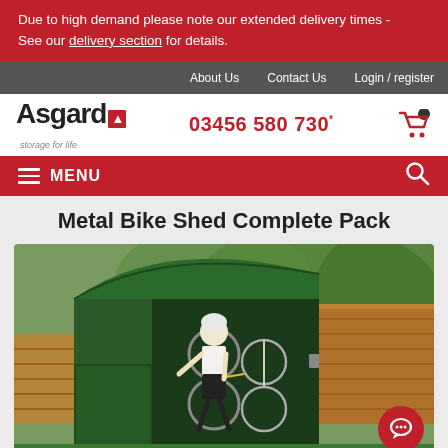Due to high demand please note our extended delivery times - See our delivery section for details.
About Us  Contact Us  Login / register
Asgard  03456 580 730
MENU
Metal Bike Shed Complete Pack
[Figure (photo): A person in cycling gear storing bicycles in a dark green metal bike shed outdoors, with wooden fence in background.]